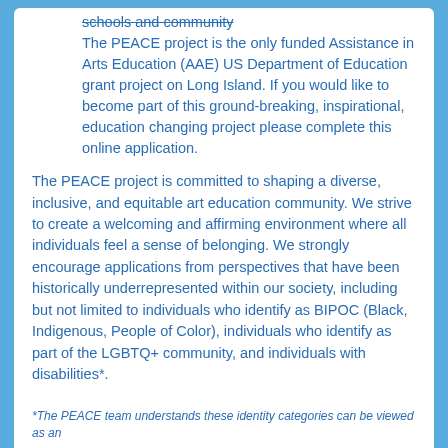schools and community
The PEACE project is the only funded Assistance in Arts Education (AAE) US Department of Education grant project on Long Island. If you would like to become part of this ground-breaking, inspirational, education changing project please complete this online application.
The PEACE project is committed to shaping a diverse, inclusive, and equitable art education community. We strive to create a welcoming and affirming environment where all individuals feel a sense of belonging. We strongly encourage applications from perspectives that have been historically underrepresented within our society, including but not limited to individuals who identify as BIPOC (Black, Indigenous, People of Color), individuals who identify as part of the LGBTQ+ community, and individuals with disabilities*.
*The PEACE team understands these identity categories can be viewed as an